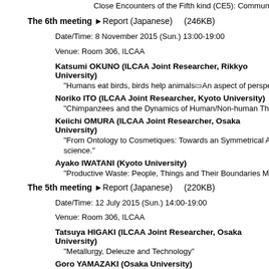Close Encounters of the Fifth kind (CE5): Communication with ex
The 6th meeting ▶Report (Japanese)    (246KB)
Date/Time: 8 November 2015 (Sun.) 13:00-19:00
Venue: Room 306, ILCAA
Katsumi OKUNO (ILCAA Joint Researcher, Rikkyo University)
“Humans eat birds, birds help animals—An aspect of perspectivism
Noriko ITO (ILCAA Joint Researcher, Kyoto University)
“Chimpanzees and the Dynamics of Human/Non-human Things”
Keiichi OMURA (ILCAA Joint Researcher, Osaka University)
“From Ontology to Cosmetiques: Towards an Symmetrical Approa
science.”
Ayako IWATANI (Kyoto University)
“Productive Waste: People, Things and Their Boundaries Mediate
The 5th meeting ▶Report (Japanese)    (220KB)
Date/Time: 12 July 2015 (Sun.) 14:00-19:00
Venue: Room 306, ILCAA
Tatsuya HIGAKI (ILCAA Joint Researcher, Osaka University)
“Metallurgy, Deleuze and Technology”
Goro YAMAZAKI (Osaka University)